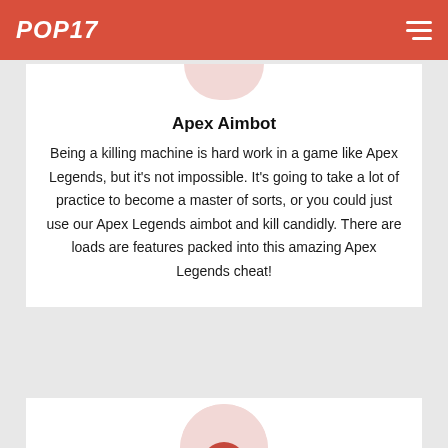POP17
Apex Aimbot
Being a killing machine is hard work in a game like Apex Legends, but it's not impossible. It's going to take a lot of practice to become a master of sorts, or you could just use our Apex Legends aimbot and kill candidly. There are loads are features packed into this amazing Apex Legends cheat!
[Figure (illustration): Partial circular icon visible at bottom of page, pink/red circle with a red symbol inside]